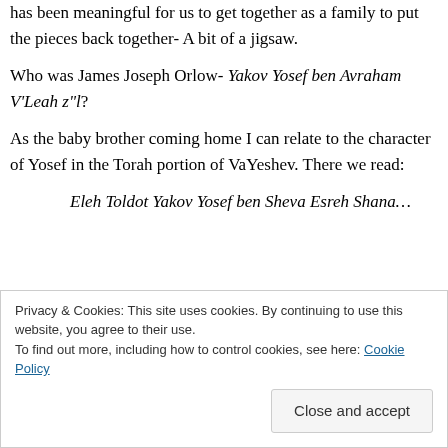has been meaningful for us to get together as a family to put the pieces back together- A bit of a jigsaw.
Who was James Joseph Orlow- Yakov Yosef ben Avraham V'Leah z"l?
As the baby brother coming home I can relate to the character of Yosef in the Torah portion of VaYeshev. There we read:
Eleh Toldot Yakov Yosef ben Sheva Esreh Shana...
Privacy & Cookies: This site uses cookies. By continuing to use this website, you agree to their use.
To find out more, including how to control cookies, see here: Cookie Policy